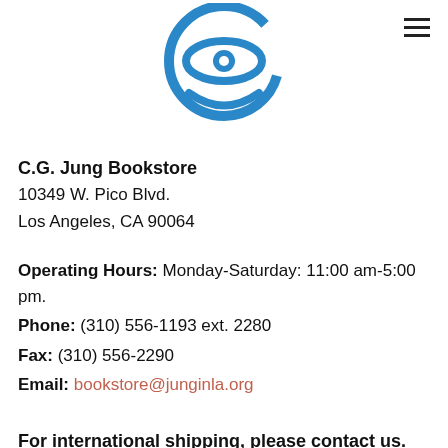[Figure (logo): C.G. Jung Institute eye logo — circular blue icon with a stylized eye and circular border]
C.G. Jung Bookstore
10349 W. Pico Blvd.
Los Angeles, CA 90064
Operating Hours: Monday-Saturday: 11:00 am-5:00 pm.
Phone: (310) 556-1193 ext. 2280
Fax: (310) 556-2290
Email: bookstore@junginla.org
For international shipping, please contact us.